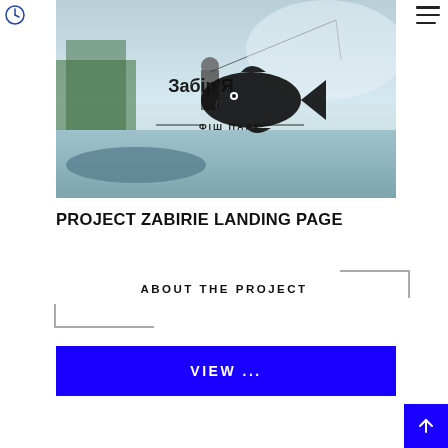[Figure (screenshot): Website screenshot showing a fishing/fish park landing page. Clock icon top-left, hamburger menu top-right, hero image with man fishing and Забір'Я фіш парк logo.]
PROJECT ZABIRIE LANDING PAGE
ABOUT THE PROJECT
VIEW ...